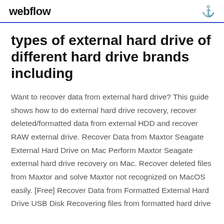webflow
types of external hard drive of different hard drive brands including
Want to recover data from external hard drive? This guide shows how to do external hard drive recovery, recover deleted/formatted data from external HDD and recover RAW external drive. Recover Data from Maxtor Seagate External Hard Drive on Mac Perform Maxtor Seagate external hard drive recovery on Mac. Recover deleted files from Maxtor and solve Maxtor not recognized on MacOS easily. [Free] Recover Data from Formatted External Hard Drive USB Disk Recovering files from formatted hard drive